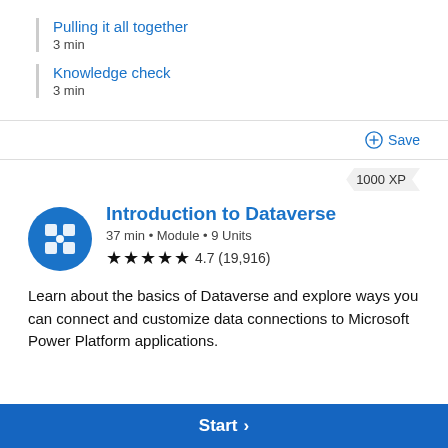Pulling it all together
3 min
Knowledge check
3 min
Save
1000 XP
Introduction to Dataverse
37 min • Module • 9 Units
4.7 (19,916)
Learn about the basics of Dataverse and explore ways you can connect and customize data connections to Microsoft Power Platform applications.
Start